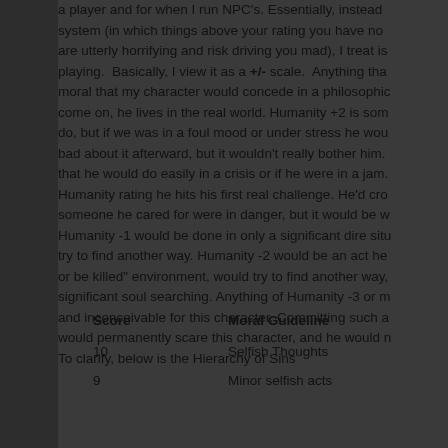a player and for when I run NPC's. Essentially, instead of using the standard system (in which things above your rating you have no desire for and things below are utterly horrifying and risk driving you mad), I treat is as more of a range of playing. Basically, I view it as a +/- scale. Anything that is morally neutral or moral that my character would concede in a philosophical debate is fine, come on, he lives in the real world. Humanity +2 is something he would happily do, but if we was in a foul mood or under stress he wouldn't feel particularly bad about it afterward, but it wouldn't really bother him. Humanity +1 is something that he would do easily in a crisis or if he were in a jam. At his actual Humanity rating he hits his first real challenge. He'd cross that line if he or someone he cared for were in danger, but it would be weighing on his mind. Humanity -1 would be done in only a significant dire situation, and he would try to find another way. Humanity -2 would be an act he would, even in a "kill or be killed" environment, would try to find another way, and it would require significant soul searching. Anything of Humanity -3 or more is truly abhorrent and inconceivable for this character. Committing such an act of this magnitude would permanently scare this character, and he would never be the same. To clarify, below is the Hierarchy of Sins
| Score | Moral Guideline |
| --- | --- |
| 10 | Selfish Thoughts |
| 9 | Minor selfish acts |